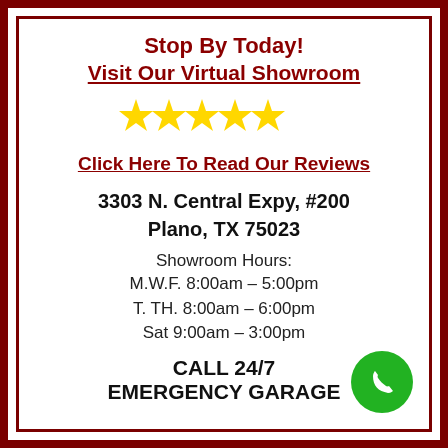Stop By Today!
Visit Our Virtual Showroom
[Figure (illustration): Five gold star rating icons]
Click Here To Read Our Reviews
3303 N. Central Expy, #200
Plano, TX 75023
Showroom Hours:
M.W.F. 8:00am – 5:00pm
T. TH. 8:00am – 6:00pm
Sat 9:00am – 3:00pm
CALL 24/7
EMERGENCY GARAGE
[Figure (illustration): Green circle phone call button icon]